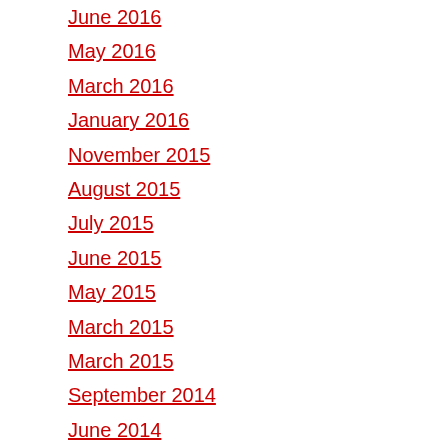June 2016
May 2016
March 2016
January 2016
November 2015
August 2015
July 2015
June 2015
May 2015
March 2015
March 2015
September 2014
June 2014
April 2014
March 2014
September 2013
August 2013
July 2013
June 2013
March 2013
November 2012
October 2012
September 2012
July 2012
June 2012
May 2012
April 2012
March 2012
March 2012
January 2012
December 2011
October 2011
September 2011